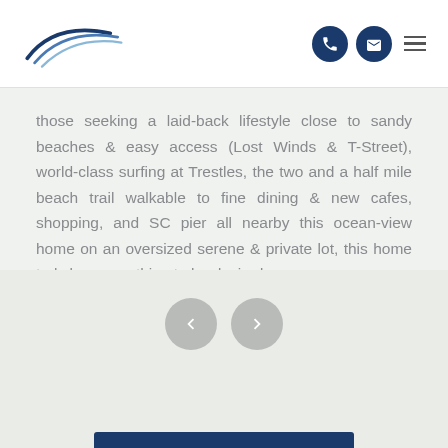[Figure (logo): Pacific Rim Property Management logo with swoosh arcs above text]
those seeking a laid-back lifestyle close to sandy beaches & easy access (Lost Winds & T-Street), world-class surfing at Trestles, the two and a half mile beach trail walkable to fine dining & new cafes, shopping, and SC pier all nearby this ocean-view home on an oversized serene & private lot, this home truly leaves nothing to be desired.